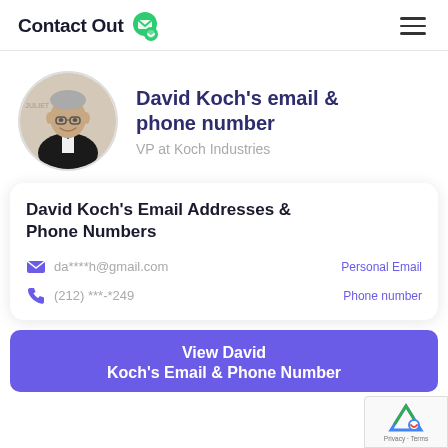ContactOut
[Figure (photo): Circular profile photo of David Koch in a tuxedo with bow tie, with text 'JULIET' visible in background]
David Koch's email & phone number
VP at Koch Industries
David Koch's Email Addresses & Phone Numbers
da****h@gmail.com  Personal Email
(212) ***-*249  Phone number
View David Koch's Email & Phone Number